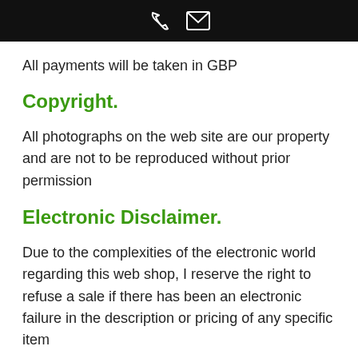phone and email icons
All payments will be taken in GBP
Copyright.
All photographs on the web site are our property and are not to be reproduced without prior permission
Electronic Disclaimer.
Due to the complexities of the electronic world regarding this web shop, I reserve the right to refuse a sale if there has been an electronic failure in the description or pricing of any specific item